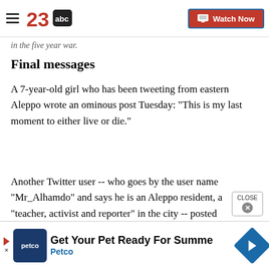23abc — Watch Now
in the five year war.
Final messages
A 7-year-old girl who has been tweeting from eastern Aleppo wrote an ominous post Tuesday: "This is my last moment to either live or die."
Another Twitter user -- who goes by the user name "Mr_Alhamdo" and says he is an Aleppo resident, a "teacher, activist and reporter" in the city -- posted
[Figure (screenshot): Advertisement banner for Petco: 'Get Your Pet Ready For Summe' with Petco logo and navigation icon]